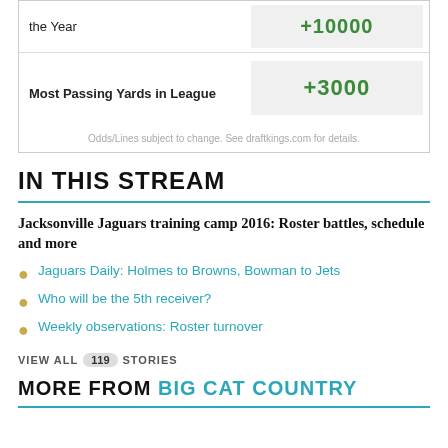|  |  |
| --- | --- |
| Most Passing Yards in League | +3000 |
Odds/Lines subject to change. See draftkings.com for details.
IN THIS STREAM
Jacksonville Jaguars training camp 2016: Roster battles, schedule and more
Jaguars Daily: Holmes to Browns, Bowman to Jets
Who will be the 5th receiver?
Weekly observations: Roster turnover
VIEW ALL 119 STORIES
MORE FROM BIG CAT COUNTRY